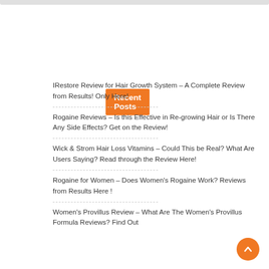Recent Posts
IRestore Review for Hair Growth System – A Complete Review from Results! Only Here!
Rogaine Reviews – Is this Effective in Re-growing Hair or Is There Any Side Effects? Get on the Review!
Wick & Strom Hair Loss Vitamins – Could This be Real? What Are Users Saying? Read through the Review Here!
Rogaine for Women – Does Women's Rogaine Work? Reviews from Results Here !
Women's Provillus Review – What Are The Women's Provillus Formula Reviews? Find Out